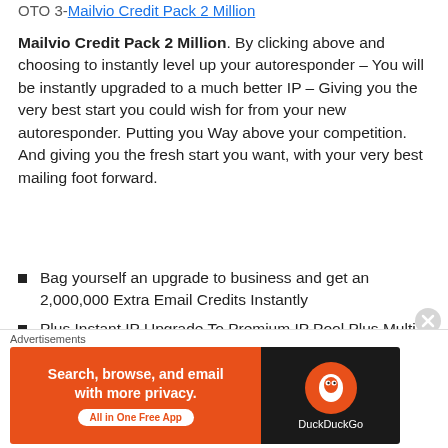OTO 3-Mailvio Credit Pack 2 Million
Mailvio Credit Pack 2 Million. By clicking above and choosing to instantly level up your autoresponder – You will be instantly upgraded to a much better IP – Giving you the very best start you could wish for from your new autoresponder. Putting you Way above your competition. And giving you the fresh start you want, with your very best mailing foot forward.
Bag yourself an upgrade to business and get an 2,000,000 Extra Email Credits Instantly
Plus Instant IP Upgrade To Premium IP Pool Plus Multi-Sender Option
Plus 12 Months of Done For You Email Sequences
[Figure (screenshot): DuckDuckGo advertisement banner: orange left panel with text 'Search, browse, and email with more privacy. All in One Free App' and dark right panel with DuckDuckGo logo]